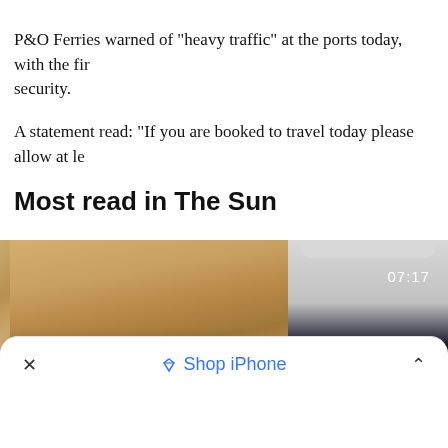P&O Ferries warned of "heavy traffic" at the ports today, with the firm... security.
A statement read: "If you are booked to travel today please allow at le...
Most read in The Sun
[Figure (photo): Woman with blonde hair taking a mirror selfie holding a gold iPhone, with another phone displaying 07:17 visible in the frame.]
× Shop iPhone ^